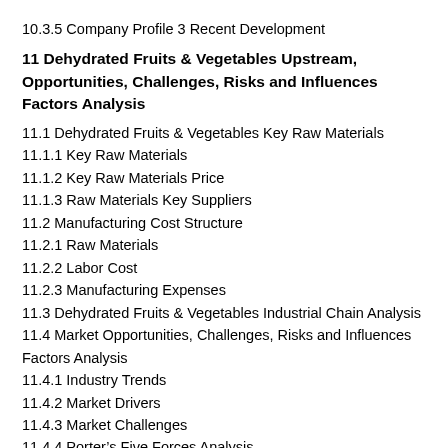10.3.5 Company Profile 3 Recent Development
11 Dehydrated Fruits & Vegetables Upstream, Opportunities, Challenges, Risks and Influences Factors Analysis
11.1 Dehydrated Fruits & Vegetables Key Raw Materials
11.1.1 Key Raw Materials
11.1.2 Key Raw Materials Price
11.1.3 Raw Materials Key Suppliers
11.2 Manufacturing Cost Structure
11.2.1 Raw Materials
11.2.2 Labor Cost
11.2.3 Manufacturing Expenses
11.3 Dehydrated Fruits & Vegetables Industrial Chain Analysis
11.4 Market Opportunities, Challenges, Risks and Influences Factors Analysis
11.4.1 Industry Trends
11.4.2 Market Drivers
11.4.3 Market Challenges
11.4.4 Porter's Five Forces Analysis